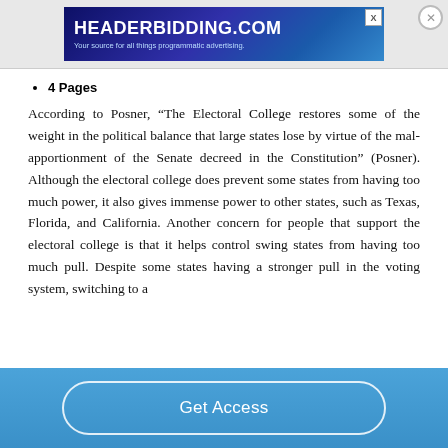[Figure (other): HeaderBidding.com advertisement banner with text 'HEADERBIDDING.COM - Your source for all things programmatic advertising.']
4 Pages
According to Posner, “The Electoral College restores some of the weight in the political balance that large states lose by virtue of the mal-apportionment of the Senate decreed in the Constitution” (Posner). Although the electoral college does prevent some states from having too much power, it also gives immense power to other states, such as Texas, Florida, and California. Another concern for people that support the electoral college is that it helps control swing states from having too much pull. Despite some states having a stronger pull in the voting system, switching to a
Get Access